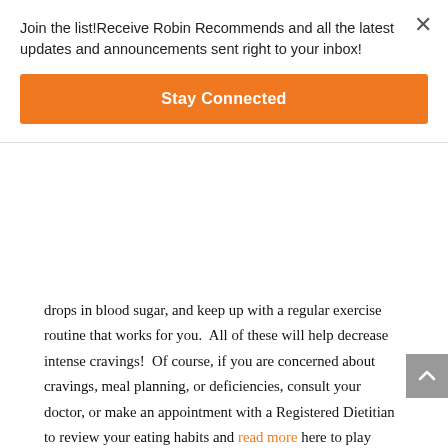Join the list!Receive Robin Recommends and all the latest updates and announcements sent right to your inbox!
Stay Connected
drops in blood sugar, and keep up with a regular exercise routine that works for you.  All of these will help decrease intense cravings!  Of course, if you are concerned about cravings, meal planning, or deficiencies, consult your doctor, or make an appointment with a Registered Dietitian to review your eating habits and read more here to play games and relieve stress. We can now convert pdf online with soda pdf editor, you can use it on desktop or web browser.